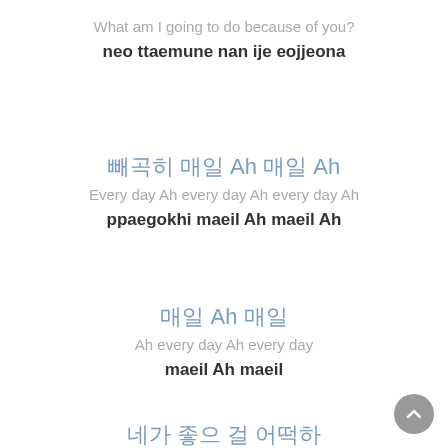What am I going to do because of you?
neo ttaemune nan ije eojjeona
빼곡히 매일 Ah 매일 Ah
Every day Ah every day Ah every day Ah
ppaegokhi maeil Ah maeil Ah
매일 Ah 매일
Ah every day Ah every day
maeil Ah maeil
네가 좋으 걸 어떡하